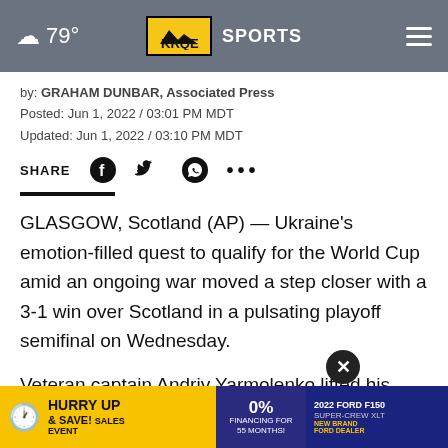☁ 79° KRQE SPORTS
by: GRAHAM DUNBAR, Associated Press
Posted: Jun 1, 2022 / 03:01 PM MDT
Updated: Jun 1, 2022 / 03:10 PM MDT
SHARE
GLASGOW, Scotland (AP) — Ukraine's emotion-filled quest to qualify for the World Cup amid an ongoing war moved a step closer with a 3-1 win over Scotland in a pulsating playoff semifinal on Wednesday.
Veteran captain Andriy Yarmolenko lifted his nation by scoring then
[Figure (other): Advertisement banner for Ford F150 Super-Crew XLT with Hurry Up & Save Sales Event, 0% financing for 55 months]